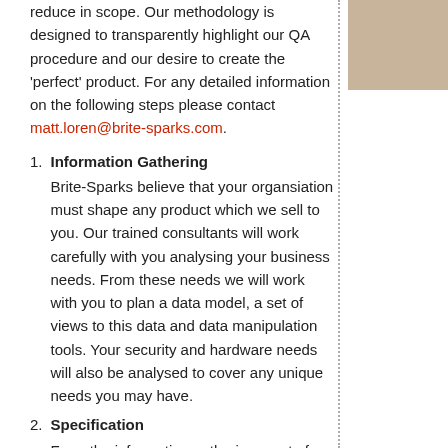reduce in scope. Our methodology is designed to transparently highlight our QA procedure and our desire to create the 'perfect' product. For any detailed information on the following steps please contact matt.loren@brite-sparks.com.
Information Gathering
Brite-Sparks believe that your organsiation must shape any product which we sell to you. Our trained consultants will work carefully with you analysing your business needs. From these needs we will work with you to plan a data model, a set of views to this data and data manipulation tools. Your security and hardware needs will also be analysed to cover any unique needs you may have.
Specification
From the information gathering a set of documents will be produced detailing the components which will be created, the look and feel of the application, the schedule, the...